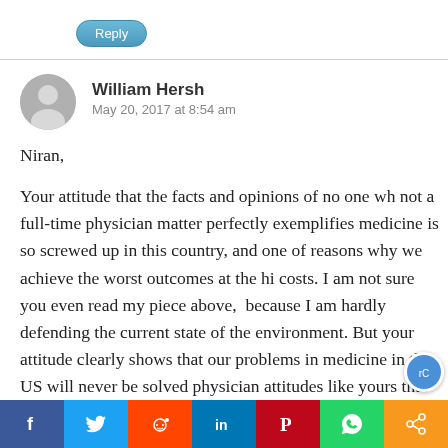[Figure (other): Reply button – teal rounded pill button with white text]
William Hersh
May 20, 2017 at 8:54 am
Niran,
Your attitude that the facts and opinions of no one who is not a full-time physician matter perfectly exemplifies why medicine is so screwed up in this country, and one of the reasons why we achieve the worst outcomes at the highest costs. I am not sure you even read my piece above, because I am hardly defending the current state of the environment. But your attitude clearly shows that our problems in medicine in the US will never be solved with physician attitudes like yours that are an embarrassm
[Figure (other): Social sharing bar with icons: Facebook (f), Twitter (bird), Reddit (alien), LinkedIn (in), Pinterest (P), WhatsApp (phone), Share (<)]